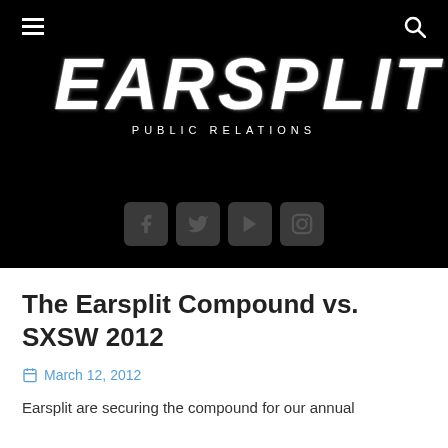[Figure (logo): Earsplit Public Relations logo on black background with social media icons (Facebook, Twitter, YouTube, Instagram) below, plus hamburger menu and search icons in top corners]
The Earsplit Compound vs. SXSW 2012
March 12, 2012
Earsplit are securing the compound for our annual